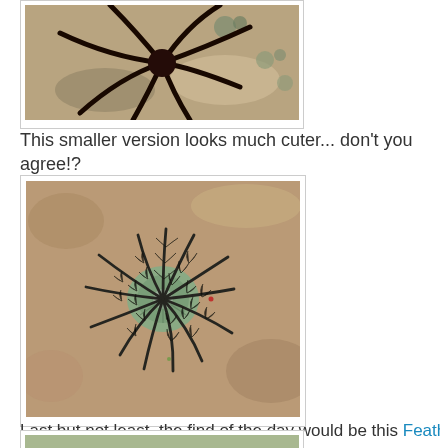[Figure (photo): Photo of a dark/black brittle star or sea creature with multiple arms, photographed on a rocky substrate with small anemones visible.]
This smaller version looks much cuter... don't you agree!?
[Figure (photo): Photo of a feather star (Order Comatulida) viewed from above, showing radial arms with a greenish center, on a rocky substrate.]
Last but not least, the find of the day would be this Feather star (Order Comatulida). Why is this find so special?
[Figure (photo): Partial photo at bottom of page showing another marine creature, partially cropped.]